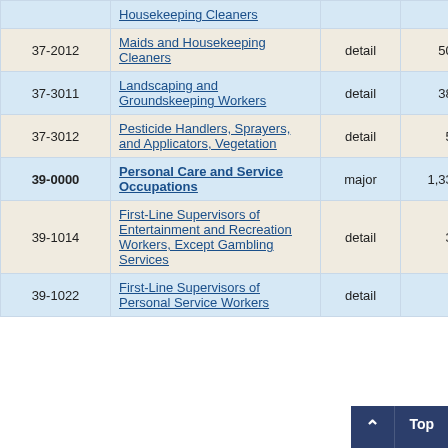| SOC Code | Occupation | Level | Employment |  |
| --- | --- | --- | --- | --- |
|  | Housekeeping Cleaners |  |  |  |
| 37-2012 | Maids and Housekeeping Cleaners | detail | 500 | 4 |
| 37-3011 | Landscaping and Groundskeeping Workers | detail | 380 | 4 |
| 37-3012 | Pesticide Handlers, Sprayers, and Applicators, Vegetation | detail | 50 | 19 |
| 39-0000 | Personal Care and Service Occupations | major | 1,330 | 2 |
| 39-1014 | First-Line Supervisors of Entertainment and Recreation Workers, Except Gambling Services | detail | 30 | 11 |
| 39-1022 | First-Line Supervisors of Personal Service Workers | detail | 6 |  |